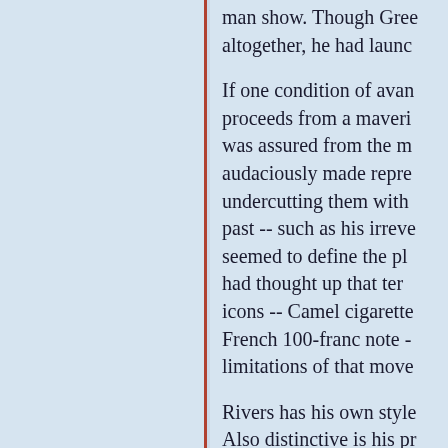man show. Though Gree altogether, he had launc
If one condition of avan proceeds from a maveri was assured from the m audaciously made repre undercutting them with past -- such as his irreve seemed to define the pl had thought up that ter icons -- Camel cigarette French 100-franc note - limitations of that move
Rivers has his own style Also distinctive is his pr Louis David's famous "N hand-in-jacket pose. Ri